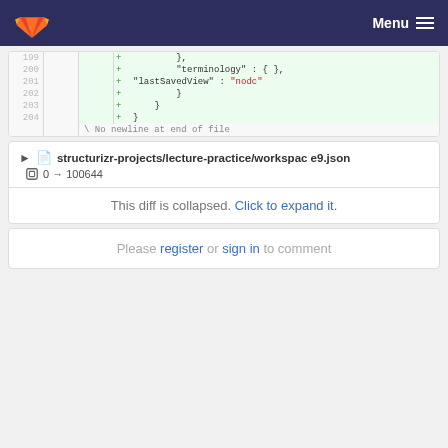GitLab logo | Menu
[Figure (screenshot): Code diff showing lines 199-204 with added lines containing JSON: }, 'terminology': {}, 'lastSavedView': 'nodc', }, }, } and a no newline at end of file notice]
structurizr-projects/lecture-practice/workspace9.json  0 → 100644
This diff is collapsed. Click to expand it.
Please register or sign in to comment